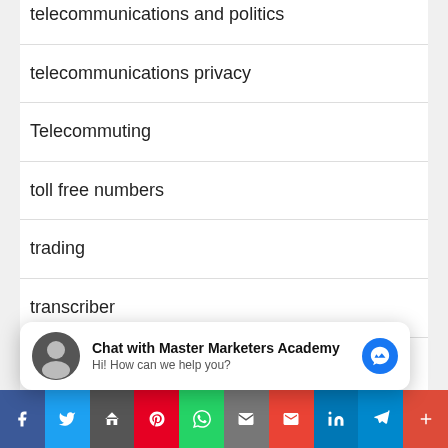telecommunications and politics
telecommunications privacy
Telecommuting
toll free numbers
trading
transcriber
Twitter